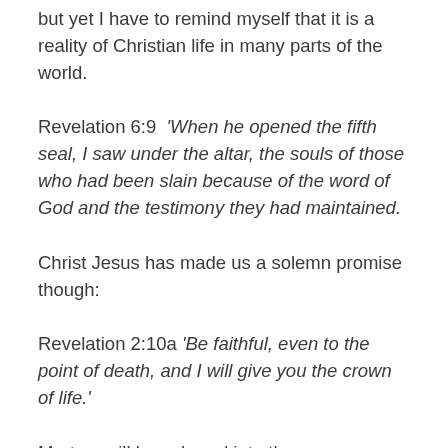but yet I have to remind myself that it is a reality of Christian life in many parts of the world.
Revelation 6:9  'When he opened the fifth seal, I saw under the altar, the souls of those who had been slain because of the word of God and the testimony they had maintained.
Christ Jesus has made us a solemn promise though:
Revelation 2:10a 'Be faithful, even to the point of death, and I will give you the crown of life.'
Martyrs will be ushered into the very presence of God during this time and will have to wait for